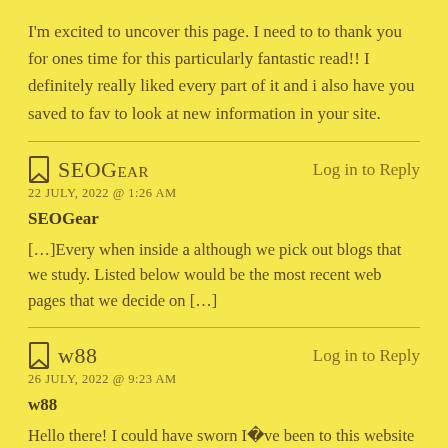I'm excited to uncover this page. I need to to thank you for ones time for this particularly fantastic read!! I definitely really liked every part of it and i also have you saved to fav to look at new information in your site.
SEOGear
22 JULY, 2022 @ 1:26 AM
SEOGear
[…]Every when inside a although we pick out blogs that we study. Listed below would be the most recent web pages that we decide on […]
w88
26 JULY, 2022 @ 9:23 AM
w88
Hello there! I could have sworn I�ve been to this website before but after going through a few of the posts I realized it�s new to